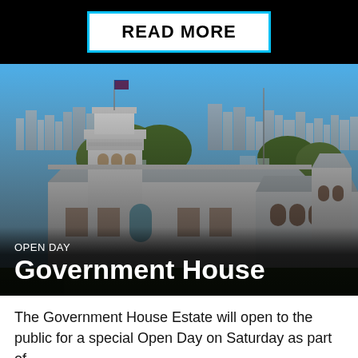READ MORE
[Figure (photo): Aerial view of Government House, a large white historic colonial building with tower, set against the Brisbane city skyline under a blue sky.]
OPEN DAY
Government House
The Government House Estate will open to the public for a special Open Day on Saturday as part of